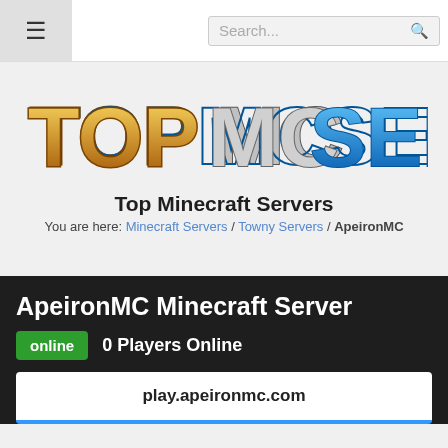☰  Search...
[Figure (logo): TopMCServers logo with blocky Minecraft-style lettering, 'TOP' in gold/brown, 'MC' in gray/white blocks, 'SERVERS' in blue/cyan blocks]
Top Minecraft Servers
You are here: Minecraft Servers / Towny Servers / ApeironMC
ApeironMC Minecraft Server
online  0 Players Online
play.apeironmc.com